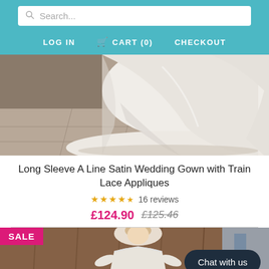Search... | LOG IN | CART (0) | CHECKOUT
[Figure (photo): Close-up photo of the lower half of a white/ivory long satin wedding gown with a train, showing fabric pooling on a stone/marble floor outdoors]
Long Sleeve A Line Satin Wedding Gown with Train Lace Appliques
★★★★½ 16 reviews
£124.90  £125.46
[Figure (photo): Photo of a woman in a white off-shoulder bridal gown with lace appliques, indoors with wooden paneling, partially visible. SALE badge visible top-left. Chat with us button overlay bottom-right.]